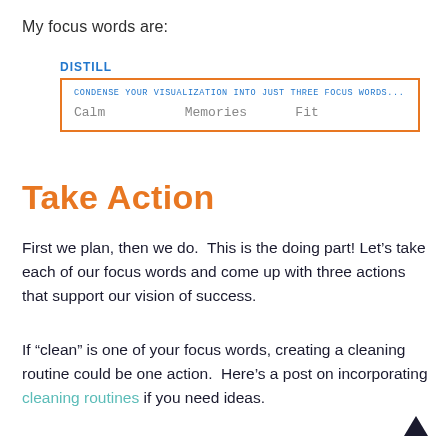My focus words are:
[Figure (other): A box labeled DISTILL with an orange border. Inside shows the prompt 'CONDENSE YOUR VISUALIZATION INTO JUST THREE FOCUS WORDS...' and three focus words: Calm, Memories, Fit.]
Take Action
First we plan, then we do.  This is the doing part! Let’s take each of our focus words and come up with three actions that support our vision of success.
If “clean” is one of your focus words, creating a cleaning routine could be one action.  Here’s a post on incorporating cleaning routines if you need ideas.